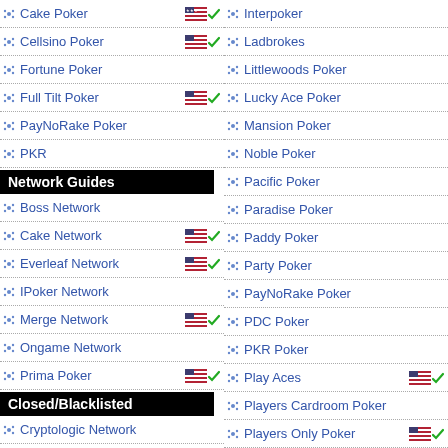Cake Poker
Cellsino Poker
Fortune Poker
Full Tilt Poker
PayNoRake Poker
PKR
Network Guides
Boss Network
Cake Network
Everleaf Network
IPoker Network
Merge Network
Ongame Network
Prima Poker
Closed/Blacklisted
Cryptologic Network
Eurolinx
Kiwi Poker
Interpoker
Ladbrokes
Littlewoods Poker
Lucky Ace Poker
Mansion Poker
Noble Poker
Pacific Poker
Paradise Poker
Paddy Poker
Party Poker
PayNoRake Poker
PDC Poker
PKR Poker
Play Aces
Players Cardroom Poker
Players Only Poker
Pokerheaven
Poker Night Shift